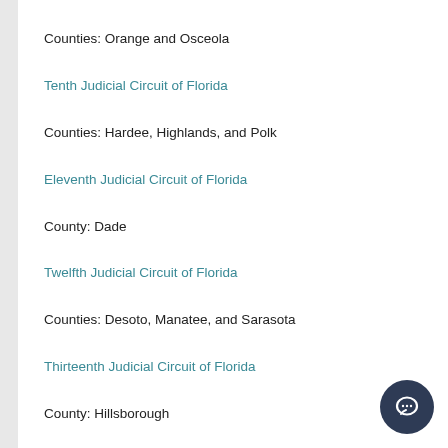Counties: Orange and Osceola
Tenth Judicial Circuit of Florida
Counties: Hardee, Highlands, and Polk
Eleventh Judicial Circuit of Florida
County: Dade
Twelfth Judicial Circuit of Florida
Counties: Desoto, Manatee, and Sarasota
Thirteenth Judicial Circuit of Florida
County: Hillsborough